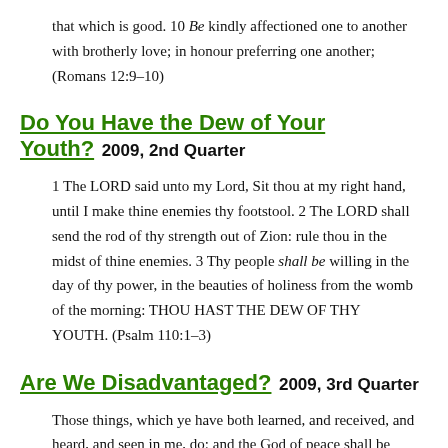that which is good. 10 Be kindly affectioned one to another with brotherly love; in honour preferring one another; (Romans 12:9–10)
Do You Have the Dew of Your Youth?  2009, 2nd Quarter
1 The LORD said unto my Lord, Sit thou at my right hand, until I make thine enemies thy footstool. 2 The LORD shall send the rod of thy strength out of Zion: rule thou in the midst of thine enemies. 3 Thy people shall be willing in the day of thy power, in the beauties of holiness from the womb of the morning: THOU HAST THE DEW OF THY YOUTH. (Psalm 110:1–3)
Are We Disadvantaged?  2009, 3rd Quarter
Those things, which ye have both learned, and received, and heard, and seen in me, do: and the God of peace shall be with you. (Philippians 4:9)